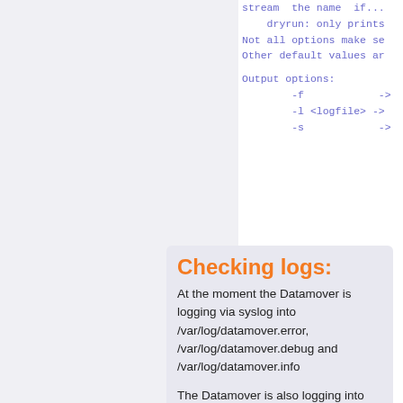stream the name if...
    dryrun: only prints
Not all options make se
Other default values ar
Output options:
        -f            ->
        -l <logfile>   ->
        -s            ->
Checking logs:
At the moment the Datamover is logging via syslog into /var/log/datamover.error, /var/log/datamover.debug and /var/log/datamover.info
The Datamover is also logging into the run datbase (table rundbdatamover). For